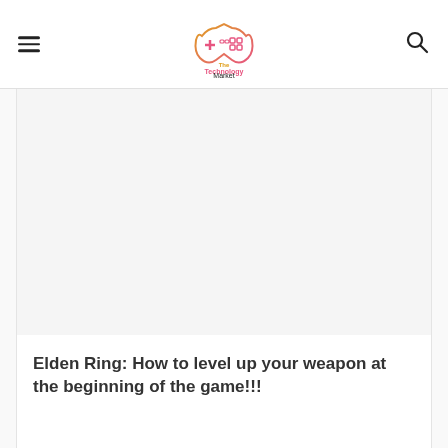The Technology Market
[Figure (screenshot): Article page screenshot showing white image placeholder area above article title]
Elden Ring: How to level up your weapon at the beginning of the game!!!